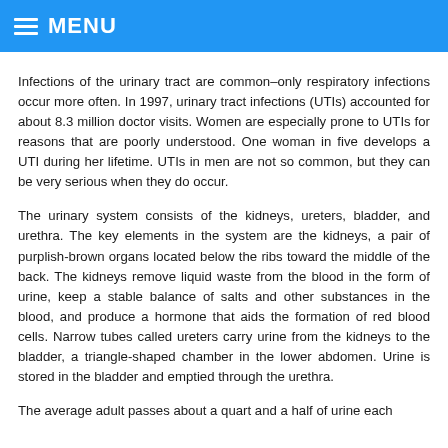MENU
Infections of the urinary tract are common–only respiratory infections occur more often. In 1997, urinary tract infections (UTIs) accounted for about 8.3 million doctor visits. Women are especially prone to UTIs for reasons that are poorly understood. One woman in five develops a UTI during her lifetime. UTIs in men are not so common, but they can be very serious when they do occur.
The urinary system consists of the kidneys, ureters, bladder, and urethra. The key elements in the system are the kidneys, a pair of purplish-brown organs located below the ribs toward the middle of the back. The kidneys remove liquid waste from the blood in the form of urine, keep a stable balance of salts and other substances in the blood, and produce a hormone that aids the formation of red blood cells. Narrow tubes called ureters carry urine from the kidneys to the bladder, a triangle-shaped chamber in the lower abdomen. Urine is stored in the bladder and emptied through the urethra.
The average adult passes about a quart and a half of urine each